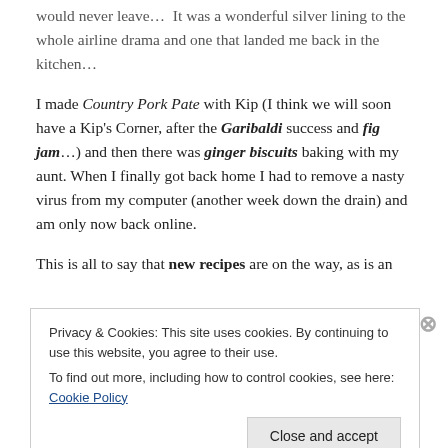would never leave…  It was a wonderful silver lining to the whole airline drama and one that landed me back in the kitchen…
I made Country Pork Pate with Kip (I think we will soon have a Kip's Corner, after the Garibaldi success and fig jam…) and then there was ginger biscuits baking with my aunt. When I finally got back home I had to remove a nasty virus from my computer (another week down the drain) and am only now back online.
This is all to say that new recipes are on the way, as is an
Privacy & Cookies: This site uses cookies. By continuing to use this website, you agree to their use.
To find out more, including how to control cookies, see here: Cookie Policy
Close and accept